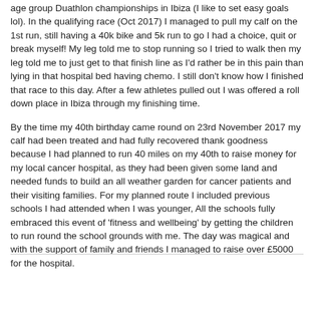age group Duathlon championships in Ibiza (I like to set easy goals lol). In the qualifying race (Oct 2017) I managed to pull my calf on the 1st run, still having a 40k bike and 5k run to go I had a choice, quit or break myself! My leg told me to stop running so I tried to walk then my leg told me to just get to that finish line as I'd rather be in this pain than lying in that hospital bed having chemo. I still don't know how I finished that race to this day. After a few athletes pulled out I was offered a roll down place in Ibiza through my finishing time.
By the time my 40th birthday came round on 23rd November 2017 my calf had been treated and had fully recovered thank goodness because I had planned to run 40 miles on my 40th to raise money for my local cancer hospital, as they had been given some land and needed funds to build an all weather garden for cancer patients and their visiting families. For my planned route I included previous schools I had attended when I was younger, All the schools fully embraced this event of 'fitness and wellbeing' by getting the children to run round the school grounds with me. The day was magical and with the support of family and friends I managed to raise over £5000 for the hospital.